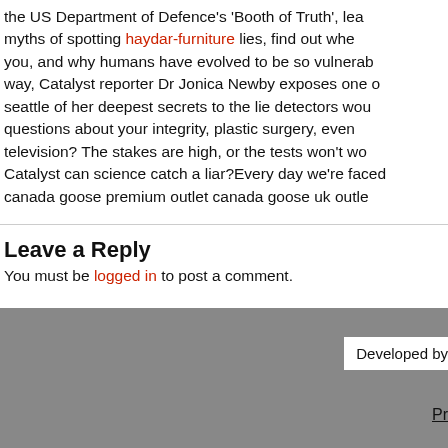the US Department of Defence's 'Booth of Truth', learn myths of spotting haydar-furniture lies, find out whe you, and why humans have evolved to be so vulnerab way, Catalyst reporter Dr Jonica Newby exposes one o seattle of her deepest secrets to the lie detectors wou questions about your integrity, plastic surgery, even television? The stakes are high, or the tests won't wo Catalyst can science catch a liar?Every day we're faced canada goose premium outlet canada goose uk outle
Leave a Reply
You must be logged in to post a comment.
Developed by
Pr